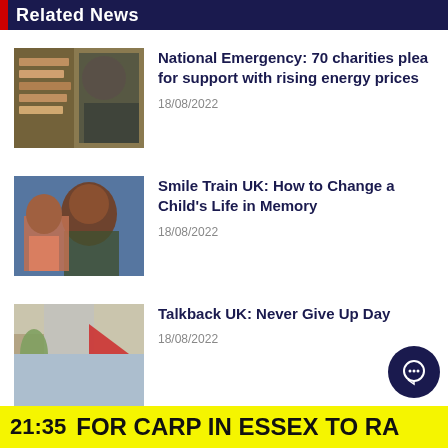Related News
National Emergency: 70 charities plea for support with rising energy prices
18/08/2022
Smile Train UK: How to Change a Child's Life in Memory
18/08/2022
Talkback UK: Never Give Up Day
18/08/2022
21:35  FOR CARP IN ESSEX TO RA